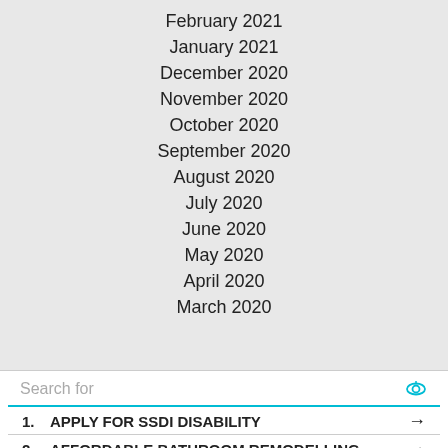February 2021
January 2021
December 2020
November 2020
October 2020
September 2020
August 2020
July 2020
June 2020
May 2020
April 2020
March 2020
Search for
1. APPLY FOR SSDI DISABILITY →
2. AFFORDABLE BATHROOM REMODELLING →